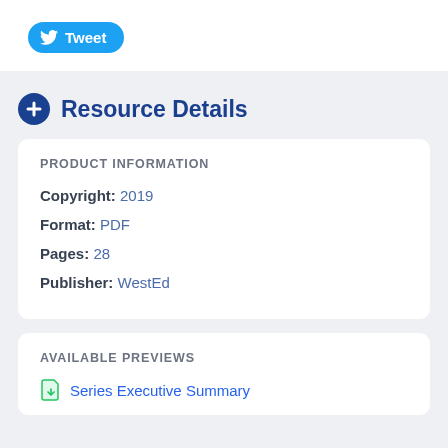[Figure (other): Twitter Tweet button with bird icon]
Resource Details
PRODUCT INFORMATION
Copyright: 2019
Format: PDF
Pages: 28
Publisher: WestEd
AVAILABLE PREVIEWS
Series Executive Summary